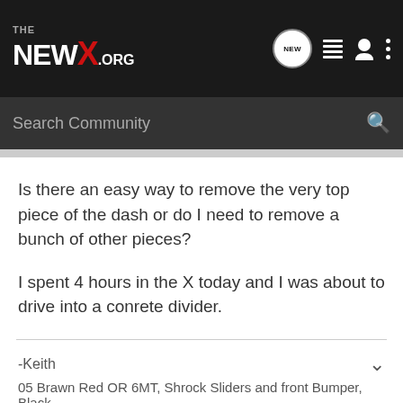THE NEWX.ORG
Search Community
Is there an easy way to remove the very top piece of the dash or do I need to remove a bunch of other pieces?

I spent 4 hours in the X today and I was about to drive into a conrete divider.
-Keith
05 Brawn Red OR 6MT, Shrock Sliders and front Bumper, Black
eXTra fORt · on line
Joined Feb 5, 2006 · 210 Posts